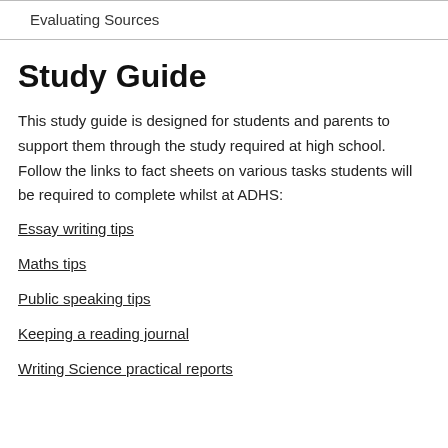Evaluating Sources
Study Guide
This study guide is designed for students and parents to support them through the study required at high school. Follow the links to fact sheets on various tasks students will be required to complete whilst at ADHS:
Essay writing tips
Maths tips
Public speaking tips
Keeping a reading journal
Writing Science practical reports